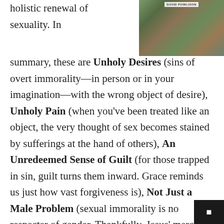holistic renewal of sexuality. In
[Figure (photo): Book cover image with text 'DAVID POWLISON' visible at top, colorful illustrated cover]
summary, these are Unholy Desires (sins of overt immorality—in person or in your imagination—with the wrong object of desire), Unholy Pain (when you've been treated like an object, the very thought of sex becomes stained by sufferings at the hand of others), An Unredeemed Sense of Guilt (for those trapped in sin, guilt turns them inward. Grace reminds us just how vast forgiveness is), Not Just a Male Problem (sexual immorality is no respecter of gender. Thankfully, Jesus' mercy extends to all sinners with the same gender-blindness).